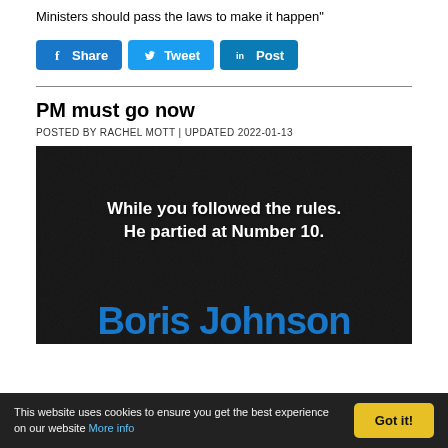Ministers should pass the laws to make it happen"
[Figure (other): Social media sharing buttons: Facebook Share, Twitter Tweet, LinkedIn Post]
PM must go now
POSTED BY RACHEL MOTT | UPDATED 2022-01-13
[Figure (photo): Dark textured background image with white bold text reading 'While you followed the rules. He partied at Number 10.' and blue bold text at bottom partially visible reading 'Boris Johnson']
This website uses cookies to ensure you get the best experience on our website More info | Got it!